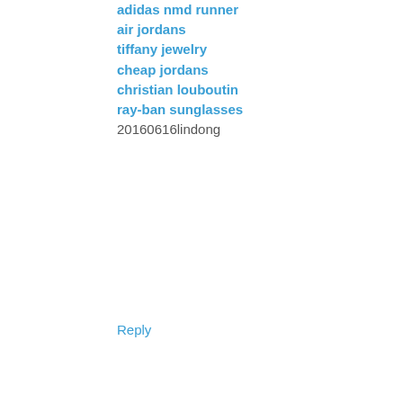adidas nmd runner
air jordans
tiffany jewelry
cheap jordans
christian louboutin
ray-ban sunglasses
20160616lindong
Reply
Unknown  August 18, 2016 at 6:17 PM
fitflops outlet
hollister clothing
timberland outlet
ralph lauren outlet online
louis vuitton bags
louis vuitton factory
ralph lauren outlet
ralph lauren
kate spade handbags
michael kors outlet clearance